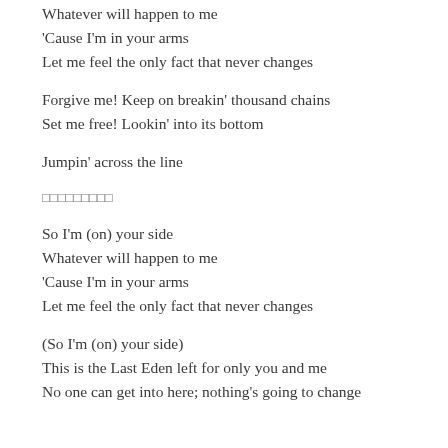Whatever will happen to me
'Cause I'm in your arms
Let me feel the only fact that never changes
Forgive me! Keep on breakin' thousand chains
Set me free! Lookin' into its bottom
Jumpin' across the line
xxxxxxxxx
So I'm (on) your side
Whatever will happen to me
'Cause I'm in your arms
Let me feel the only fact that never changes
(So I'm (on) your side)
This is the Last Eden left for only you and me
No one can get into here; nothing's going to change